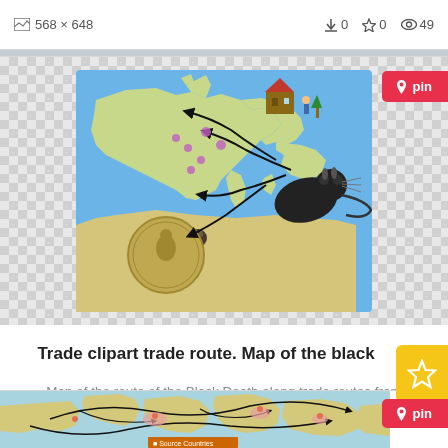568 × 648   ↓0  ☆0  👁 49
[Figure (map): Map showing trade routes of the Black Death across Europe with rats illustrated, arrows indicating spread from southern to northern Europe, with a coin overlay]
Trade clipart trade route. Map of the black
Map of the route of the Black Death along trade routes from southern Europe.. Map of the black
624 × 524   ↓0  ☆0  👁 100
[Figure (map): World map showing trade route lines/arrows connecting various source countries, with a legend labeled 'Source Countries']